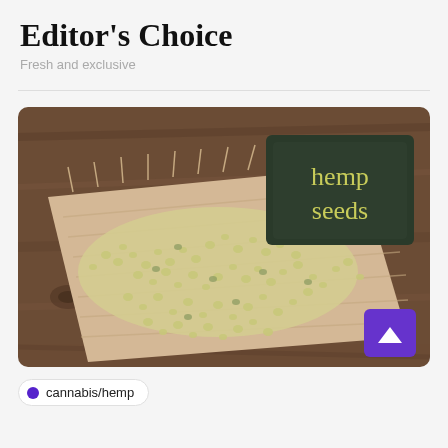Editor's Choice
Fresh and exclusive
[Figure (photo): Overhead photo of hemp seeds spread on a burlap cloth on a wooden surface, with a dark chalkboard sign reading 'hemp seeds' in yellow handwritten text. A purple scroll-to-top button is overlaid in the bottom right corner.]
cannabis/hemp